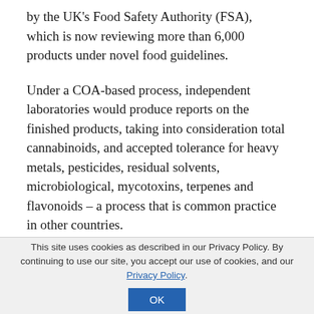by the UK's Food Safety Authority (FSA), which is now reviewing more than 6,000 products under novel food guidelines.
Under a COA-based process, independent laboratories would produce reports on the finished products, taking into consideration total cannabinoids, and accepted tolerance for heavy metals, pesticides, residual solvents, microbiological, mycotoxins, terpenes and flavonoids – a process that is common practice in other countries.
In an appendix to the agreement, the SAB urges a break from the FSA process, which is based on the
This site uses cookies as described in our Privacy Policy. By continuing to use our site, you accept our use of cookies, and our Privacy Policy.